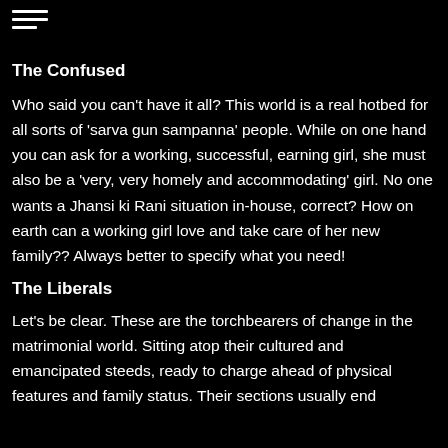[Figure (other): Hamburger menu icon (three horizontal lines)]
The Confused
Who said you can’t have it all? This world is a real hotbed for all sorts of ‘sarva gun sampanna’ people. While on one hand you can ask for a working, successful, earning girl, she must also be a ‘very, very homely and accommodating’ girl. No one wants a Jhansi ki Rani situation in-house, correct? How on earth can a working girl love and take care of her new family?? Always better to specify what you need!
The Liberals
Let’s be clear. These are the torchbearers of change in the matrimonial world. Sitting atop their cultured and emancipated steeds, ready to charge ahead of physical features and family status. Their sections usually end